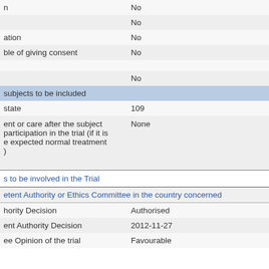| n | No |
|  | No |
| ation | No |
| ble of giving consent | No |
|  | No |
| subjects to be included |  |
| state | 109 |
| ent or care after the subject
participation in the trial (if it is
e expected normal treatment
) | None |
| s to be involved in the Trial |  |
| etent Authority or Ethics Committee in the country concerned |  |
| hority Decision | Authorised |
| ent Authority Decision | 2012-11-27 |
| ee Opinion of the trial | Favourable |